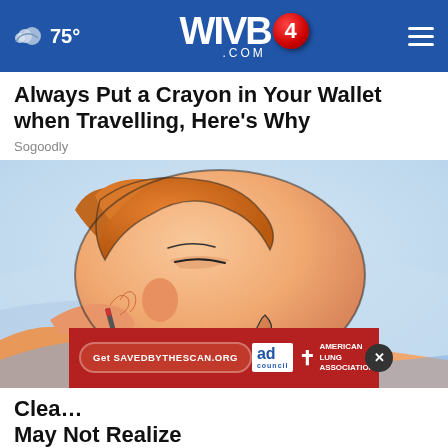☁ 75° | WIVB4.COM | ☰
Always Put a Crayon in Your Wallet when Travelling, Here's Why
Sogoodly
[Figure (illustration): Cartoon/illustration of a person sleeping on a pillow, side profile, with red lips, orange hair, hand near face]
Get SAVEDBYTHESCAN.ORG | ad council | AMERICAN LUNG ASSOCIATION.
Clea... May Not Realize